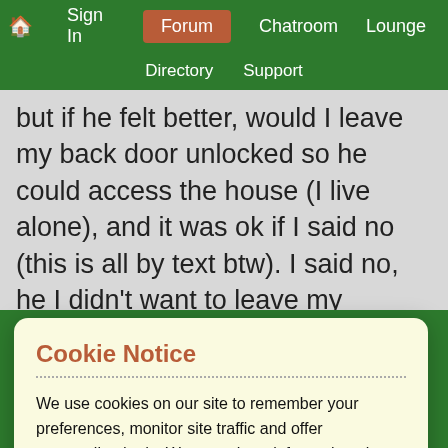🏠 Sign In | Forum | Chatroom | Lounge | Directory | Support
but if he felt better, would I leave my back door unlocked so he could access the house (I live alone), and it was ok if I said no (this is all by text btw). I said no, he I didn't want to leave my
Cookie Notice
We use cookies on our site to remember your preferences, monitor site traffic and offer personalised ads. We may share information about your use of our site with trusted advertising and analytics partners. By clicking 'Accept and continue' you consent to our use of cookies in accordance with your preferences which can be reviewed / updated at any time via our Privacy Policy.
Accept and continue